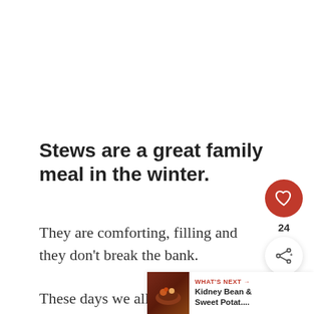Stews are a great family meal in the winter.
They are comforting, filling and they don't break the bank.
These days we all have to be careful with our money, so it really is